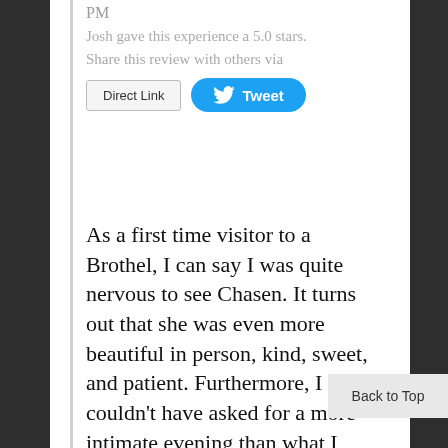PM
Josh gave this experience a 5.0 stars.
Share this review with others via
[Figure (screenshot): Two buttons: 'Direct Link' (grey bordered button) and 'Tweet' (blue rounded Twitter button with bird icon)]
As a first time visitor to a Brothel, I can say I was quite nervous to see Chasen. It turns out that she was even more beautiful in person, kind, sweet, and patient. Furthermore, I couldn't have asked for a more intimate evening than what I
Back to Top